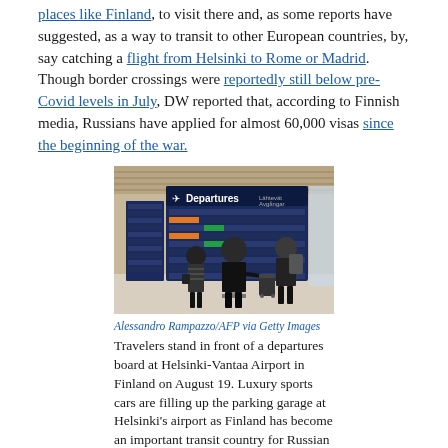places like Finland, to visit there and, as some reports have suggested, as a way to transit to other European countries, by, say catching a flight from Helsinki to Rome or Madrid. Though border crossings were reportedly still below pre-Covid levels in July, DW reported that, according to Finnish media, Russians have applied for almost 60,000 visas since the beginning of the war.
[Figure (photo): Travelers standing in front of a departures board at Helsinki-Vantaa Airport. The board shows flight information. Several people are seen from behind with luggage.]
Alessandro Rampazzo/AFP via Getty Images
Travelers stand in front of a departures board at Helsinki-Vantaa Airport in Finland on August 19. Luxury sports cars are filling up the parking garage at Helsinki's airport as Finland has become an important transit country for Russian tourists flying into Europe.
It is hard to say exactly how Russians are using these visas. Some have